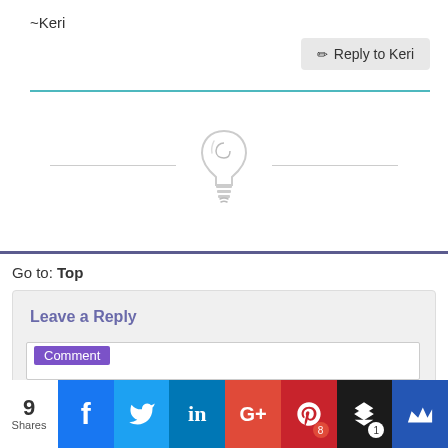~Keri
Reply to Keri
[Figure (illustration): Decorative lightbulb icon centered between two horizontal lines]
Go to: Top
Leave a Reply
Comment
9 Shares — Facebook, Twitter, LinkedIn, Google+, Pinterest (8), Buffer (1), King social share bar